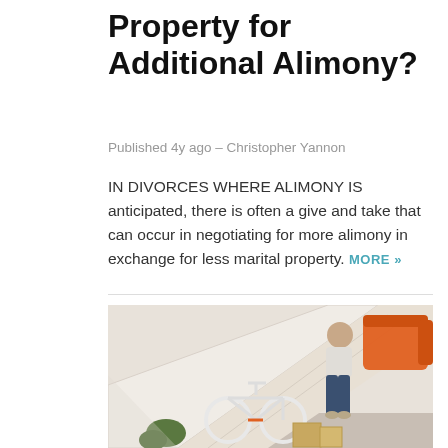Property for Additional Alimony?
Published 4y ago – Christopher Yannon
IN DIVORCES WHERE ALIMONY IS anticipated, there is often a give and take that can occur in negotiating for more alimony in exchange for less marital property. MORE »
[Figure (photo): Person carrying an orange sofa/chair up a staircase, with a bicycle and moving boxes visible below]